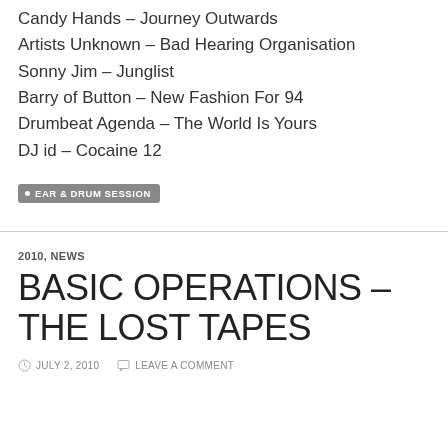Candy Hands – Journey Outwards
Artists Unknown – Bad Hearing Organisation
Sonny Jim – Junglist
Barry of Button – New Fashion For 94
Drumbeat Agenda – The World Is Yours
DJ id – Cocaine 12
• EAR & DRUM SESSION
2010, NEWS
BASIC OPERATIONS – THE LOST TAPES
JULY 2, 2010   LEAVE A COMMENT